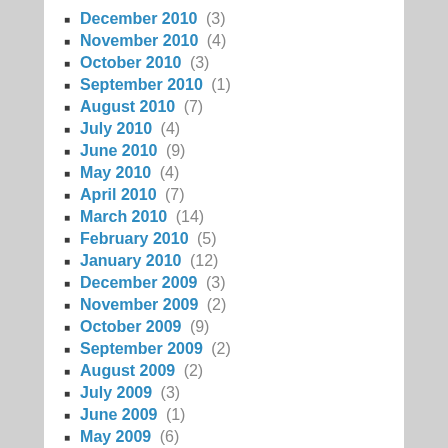December 2010 (3)
November 2010 (4)
October 2010 (3)
September 2010 (1)
August 2010 (7)
July 2010 (4)
June 2010 (9)
May 2010 (4)
April 2010 (7)
March 2010 (14)
February 2010 (5)
January 2010 (12)
December 2009 (3)
November 2009 (2)
October 2009 (9)
September 2009 (2)
August 2009 (2)
July 2009 (3)
June 2009 (1)
May 2009 (6)
April 2009 (2)